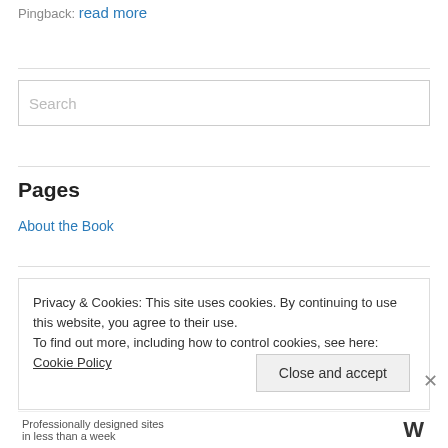Pingback: read more
Search
Pages
About the Book
Privacy & Cookies: This site uses cookies. By continuing to use this website, you agree to their use.
To find out more, including how to control cookies, see here: Cookie Policy
Close and accept
Professionally designed sites in less than a week